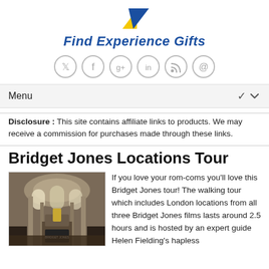[Figure (logo): Find Experience Gifts logo with yellow and blue arrow shapes and italic bold blue text]
[Figure (infographic): Row of six social media icon circles: Twitter, Facebook, Google+, LinkedIn, RSS, Email]
Menu
Disclosure : This site contains affiliate links to products. We may receive a commission for purchases made through these links.
Bridget Jones Locations Tour
[Figure (photo): Interior of a grand church with ornate dome ceiling, arched windows, altar, and decorative columns]
If you love your rom-coms you'll love this Bridget Jones tour! The walking tour which includes London locations from all three Bridget Jones films lasts around 2.5 hours and is hosted by an expert guide Helen Fielding's hapless